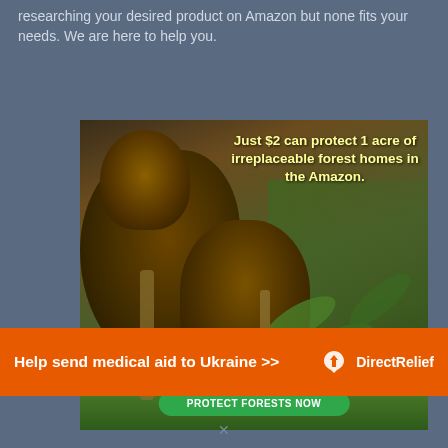researching your desired product on Amazon but none fits your needs. We are here to help you.
[Figure (photo): Advertisement showing two brown capuchin monkeys (adult and baby) in a rainforest setting with bamboo and green leaves. Text overlay reads: 'Just $2 can protect 1 acre of irreplaceable forest homes in the Amazon.' and 'How many acres will you protect?' with a 'PROTECT FORESTS NOW' green button.]
[Figure (infographic): Direct Relief banner advertisement with orange background. Text: 'Help send medical aid to Ukraine >>' with Direct Relief logo on the right.]